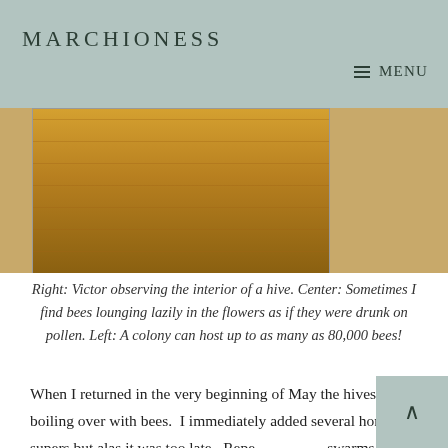MARCHIONESS  MENU
[Figure (photo): A wooden beehive box photographed from above/side, showing the wooden frame structure with natural wood tones, sitting on a stand outdoors.]
Right: Victor observing the interior of a hive. Center: Sometimes I find bees lounging lazily in the flowers as if they were drunk on pollen. Left: A colony can host up to as many as 80,000 bees!
When I returned in the very beginning of May the hives were boiling over with bees.  I immediately added several honey supers but alas it was too late.  Repeated swarms issued from each hive, with hive populations cut by half my dreams of a bumper crops quickly faded.